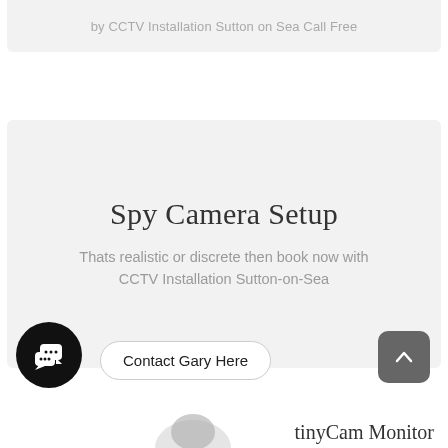by CCTV Installation Sutton on Sea Call Free
Spy Camera Setup
Thats realistic or discrete then book now with CCTV Installation Sutton-on-Sea
[Figure (illustration): Black circular chat/messaging icon with speech bubble icons in white]
Contact Gary Here
[Figure (illustration): Dark grey rounded square scroll-to-top button with upward chevron arrow]
tinyCam Monitor